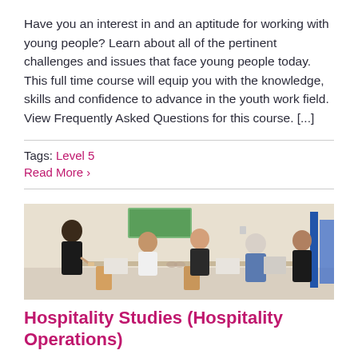Have you an interest in and an aptitude for working with young people? Learn about all of the pertinent challenges and issues that face young people today. This full time course will equip you with the knowledge, skills and confidence to advance in the youth work field. View Frequently Asked Questions for this course. [...]
Tags: Level 5
Read More ›
[Figure (photo): A waiter in black uniform writing on a notepad stands at a table where three women and a man are seated, reviewing menus, in a restaurant or hospitality training setting.]
Hospitality Studies (Hospitality Operations)